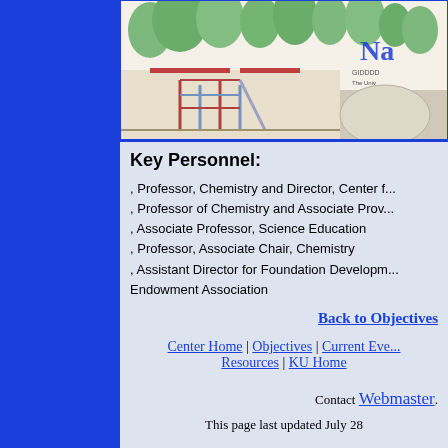[Figure (illustration): Architectural watercolor illustration of a university building/campus area with trees, outdoor furniture, and playground equipment. Partial text visible: 'Na' and 'The Univ'.]
Key Personnel:
, Professor, Chemistry and Director, Center ...
, Professor of Chemistry and Associate Prov...
, Associate Professor, Science Education
, Professor, Associate Chair, Chemistry
, Assistant Director for Foundation Developm... Endowment Association
Back to Objectives
Center Home | Objectives | Current Eve... Resources | KU Home
Contact Webmaster.
This page last updated July 28